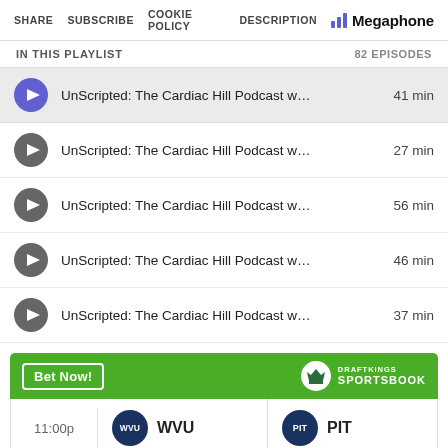SHARE  SUBSCRIBE  COOKIE POLICY  DESCRIPTION  Megaphone
IN THIS PLAYLIST   82 EPISODES
UnScripted: The Cardiac Hill Podcast w…  41 min
UnScripted: The Cardiac Hill Podcast w…  27 min
UnScripted: The Cardiac Hill Podcast w…  56 min
UnScripted: The Cardiac Hill Podcast w…  46 min
UnScripted: The Cardiac Hill Podcast w…  37 min
[Figure (screenshot): DraftKings Sportsbook advertisement banner with Bet Now button, showing a game between WVU and PIT at 11:00p]